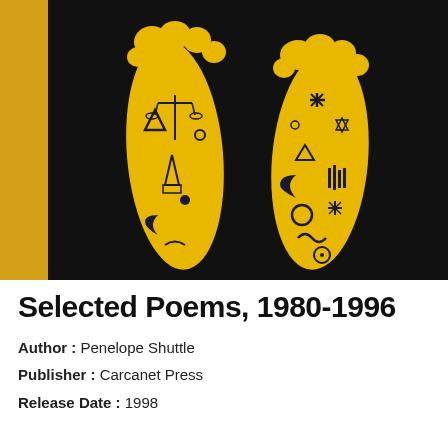[Figure (photo): Book cover of 'Selected Poems, 1980-1996' showing two yellow foot soles illustrated with various symbols and icons on a black background, with a yellow spine visible on the left.]
Selected Poems, 1980-1996
Author : Penelope Shuttle
Publisher : Carcanet Press
Release Date : 1998